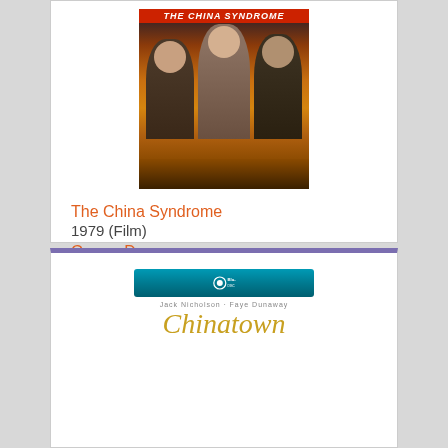[Figure (photo): DVD cover of The China Syndrome (1979) showing three actors against fiery/dramatic background with red title text]
The China Syndrome
1979 (Film)
Genre: Drama
2:02
AFI Top 100, Classics, Conspiracies
Discs: 2
[Figure (photo): Blu-ray cover of Chinatown showing a blue Blu-ray bar at top and stylized gold italic Chinatown title text below with actor credits]